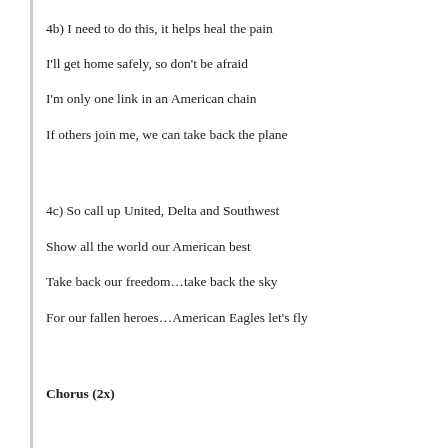4b) I need to do this, it helps heal the pain
I'll get home safely, so don't be afraid
I'm only one link in an American chain
If others join me, we can take back the plane
4c) So call up United, Delta and Southwest
Show all the world our American best
Take back our freedom…take back the sky
For our fallen heroes…American Eagles let's fly
Chorus (2x)
May God Bless the USA…again…Let's roll.
eric